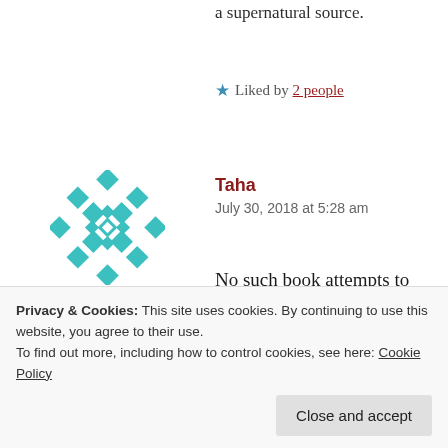a supernatural source.
★ Liked by 2 people
[Figure (illustration): Teal/turquoise geometric avatar image with diamond and cross pattern]
Taha
July 30, 2018 at 5:28 am
No such book attempts to make a strong case for the Qur'an being a miracle purely due to its literary angle as far as I am aware.
capacities of an Arab with no training in written form
Privacy & Cookies: This site uses cookies. By continuing to use this website, you agree to their use.
To find out more, including how to control cookies, see here: Cookie Policy
Close and accept